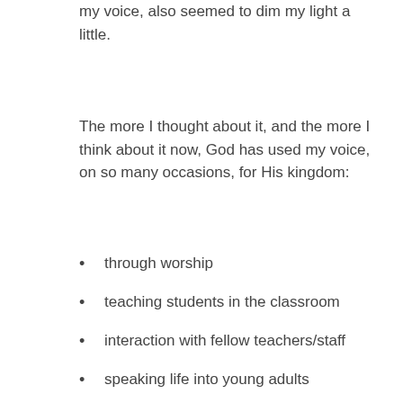my voice, also seemed to dim my light a little.
The more I thought about it, and the more I think about it now, God has used my voice, on so many occasions, for His kingdom:
through worship
teaching students in the classroom
interaction with fellow teachers/staff
speaking life into young adults
praying for others